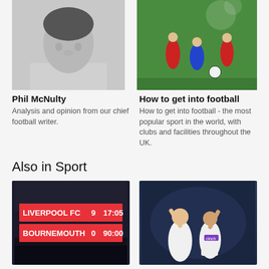[Figure (photo): Black and white headshot photo of Phil McNulty, a middle-aged man in a light shirt]
Phil McNulty
Analysis and opinion from our chief football writer.
[Figure (photo): Color photo of children playing football on a green pitch, players in red and blue kits]
How to get into football
How to get into football - the most popular sport in the world, with clubs and facilities throughout the UK.
Also in Sport
[Figure (photo): Photo of Liverpool FC vs Bournemouth scoreboard showing Liverpool FC 9, Bournemouth 0 at 90:00]
'It could have been 14' - record-equalling
[Figure (photo): Photo of England cricket players celebrating, wearing white uniforms with Cinch sponsor]
'England go from freewheeling freshmen to